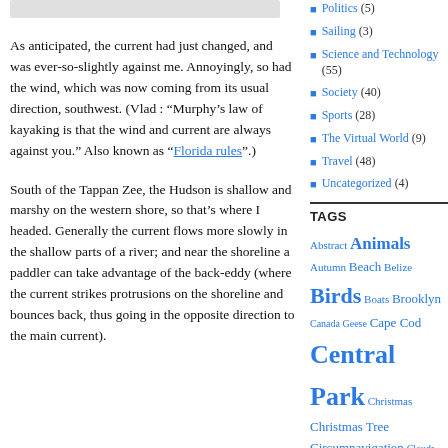[Figure (other): Gray header box (partial page header image)]
As anticipated, the current had just changed, and was ever-so-slightly against me. Annoyingly, so had the wind, which was now coming from its usual direction, southwest. (Vlad : “Murphy’s law of kayaking is that the wind and current are always against you.” Also known as “Florida rules”.)
South of the Tappan Zee, the Hudson is shallow and marshy on the western shore, so that’s where I headed. Generally the current flows more slowly in the shallow parts of a river; and near the shoreline a paddler can take advantage of the back-eddy (where the current strikes protrusions on the shoreline and bounces back, thus going in the opposite direction to the main current).
Politics (5)
Sailing (3)
Science and Technology (55)
Society (40)
Sports (28)
The Virtual World (9)
Travel (48)
Uncategorized (4)
TAGS
Abstract Animals Autumn Beach Belize Birds Boats Brooklyn Canada Geese Cape Cod Central Park Christmas Christmas Tree Circumnavigation Clouds Coney Island East River Everglades